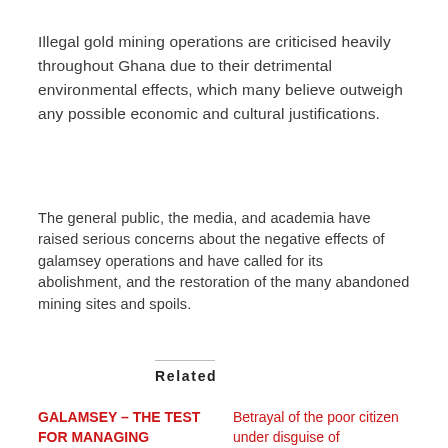Illegal gold mining operations are criticised heavily throughout Ghana due to their detrimental environmental effects, which many believe outweigh any possible economic and cultural justifications.
The general public, the media, and academia have raised serious concerns about the negative effects of galamsey operations and have called for its abolishment, and the restoration of the many abandoned mining sites and spoils.
Related
GALAMSEY – THE TEST FOR MANAGING
Betrayal of the poor citizen under disguise of